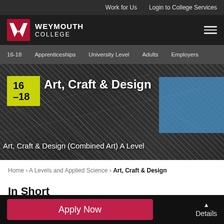Work for Us    Login to College Services
[Figure (logo): Weymouth College logo with W mark in red square and text WEYMOUTH COLLEGE]
16-18   Apprenticeships   University Level   Adults   Employers
[Figure (photo): Hero banner with abstract black and white sketch art background, blue highlight box top right, yellow-green age badge showing 16-18, title Art, Craft & Design, subtitle Art, Craft & Design (Combined Art) A Level]
Art, Craft & Design
Art, Craft & Design (Combined Art) A Level
Home › A Levels and Applied Science › Art, Craft & Design
In Short
Apply Now
Details